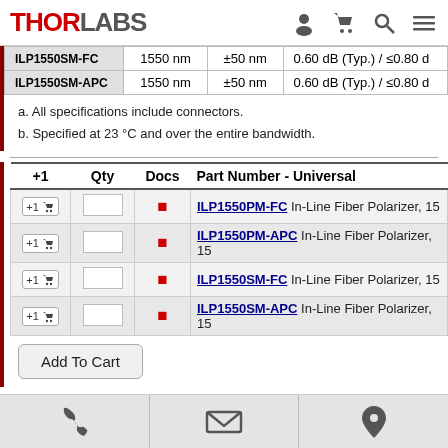THORLABS
| Part Number | Wavelength | Bandwidth | Insertion Loss |
| --- | --- | --- | --- |
| ILP1550SM-FC | 1550 nm | ±50 nm | 0.60 dB (Typ.) / ≤0.80 dB |
| ILP1550SM-APC | 1550 nm | ±50 nm | 0.60 dB (Typ.) / ≤0.80 dB |
a. All specifications include connectors.
b. Specified at 23 °C and over the entire bandwidth.
| +1 | Qty | Docs | Part Number - Universal |
| --- | --- | --- | --- |
| +1[cart] |  | [doc] | ILP1550PM-FC | In-Line Fiber Polarizer, 15... |
| +1[cart] |  | [doc] | ILP1550PM-APC | In-Line Fiber Polarizer, 15... |
| +1[cart] |  | [doc] | ILP1550SM-FC | In-Line Fiber Polarizer, 15... |
| +1[cart] |  | [doc] | ILP1550SM-APC | In-Line Fiber Polarizer, 15... |
Additional Fiber Polarization Management
2- and 3-Paddle Polarization Controllers
Pigtailed Faraday Mirrors
Phone | Email | Location